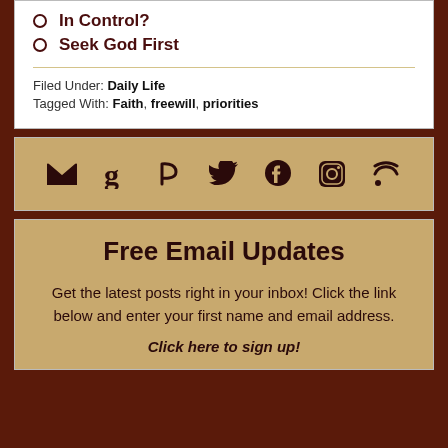In Control?
Seek God First
Filed Under: Daily Life
Tagged With: Faith, freewill, priorities
[Figure (infographic): Social media icons row: email/mail, Goodreads, Parler, Twitter, Facebook, Instagram, RSS]
Free Email Updates
Get the latest posts right in your inbox! Click the link below and enter your first name and email address.
Click here to sign up!